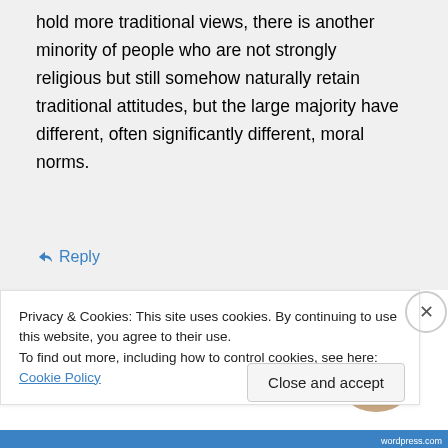hold more traditional views, there is another minority of people who are not strongly religious but still somehow naturally retain traditional attitudes, but the large majority have different, often significantly different, moral norms.
↳ Reply
and a better world.
[Figure (illustration): Apply button and circular avatar image of a person thinking]
Privacy & Cookies: This site uses cookies. By continuing to use this website, you agree to their use.
To find out more, including how to control cookies, see here: Cookie Policy
Close and accept